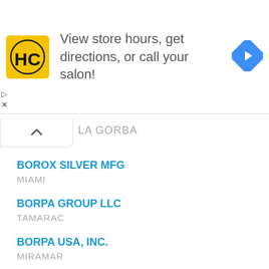[Figure (other): Advertisement banner: HC salon logo, text 'View store hours, get directions, or call your salon!', directions arrow icon]
LA GORBA
BOROX SILVER MFG
MIAMI
BORPA GROUP LLC
TAMARAC
BORPA USA, INC.
MIRAMAR
BORPASA, INC.
MIAMI
BORPECA, INC.
MIAMI
BORPHOSIS CONSTRUCTION LLC